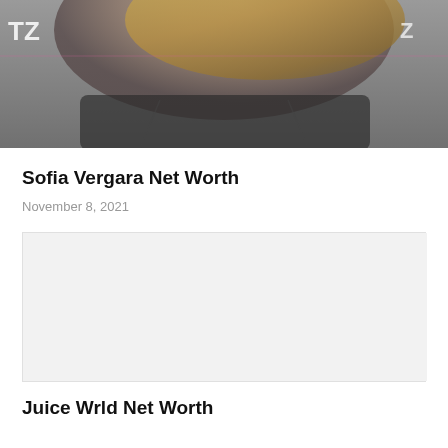[Figure (photo): Photo of Sofia Vergara at an event, showing her from shoulders up, with blonde hair, wearing an off-shoulder dark outfit. Text 'TZ' visible in background on left and right sides.]
Sofia Vergara Net Worth
November 8, 2021
[Figure (photo): Placeholder image area for a second article]
Juice Wrld Net Worth